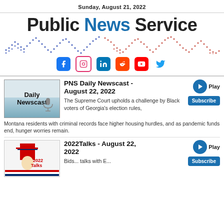Sunday, August 21, 2022
Public News Service
[Figure (infographic): Dot pattern sound wave graphic in blue and red dots below the Public News Service logo]
[Figure (infographic): Social media icons: Facebook, Instagram, LinkedIn, Reddit, YouTube, Twitter]
PNS Daily Newscast - August 22, 2022
The Supreme Court upholds a challenge by Black voters of Georgia's election rules, Montana residents with criminal records face higher housing hurdles, and as pandemic funds end, hunger worries remain.
2022Talks - August 22, 2022
Bids... talks with E...